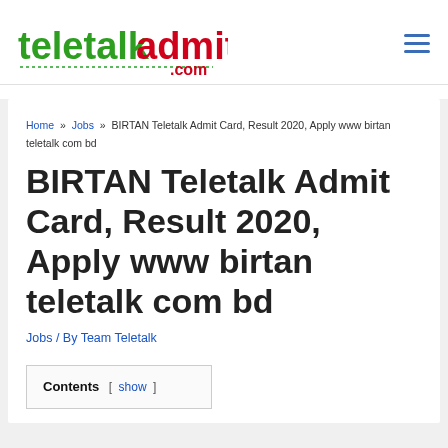teletalkadmitcard.com
Home » Jobs » BIRTAN Teletalk Admit Card, Result 2020, Apply www birtan teletalk com bd
BIRTAN Teletalk Admit Card, Result 2020, Apply www birtan teletalk com bd
Jobs / By Team Teletalk
Contents [ show ]